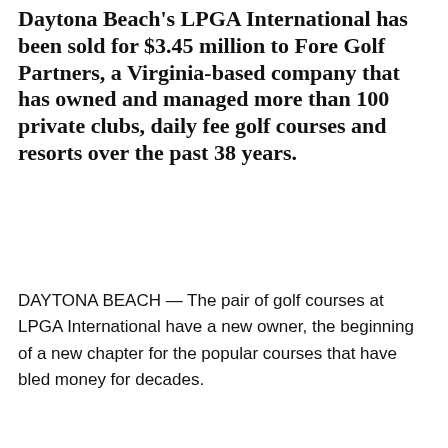Daytona Beach's LPGA International has been sold for $3.45 million to Fore Golf Partners, a Virginia-based company that has owned and managed more than 100 private clubs, daily fee golf courses and resorts over the past 38 years.
DAYTONA BEACH — The pair of golf courses at LPGA International have a new owner, the beginning of a new chapter for the popular courses that have bled money for decades.
Fore Golf Partners late Thursday completed its $3.45 million purchase of the two 18-hole courses on the city's west side. The Virginia-based company acquired the 657-acre golf club property from Consolidated-Tomoka Land Co.
Daytona Beach-based Consolidated-Tomoka, w… announced the deal Friday morning, also said it…